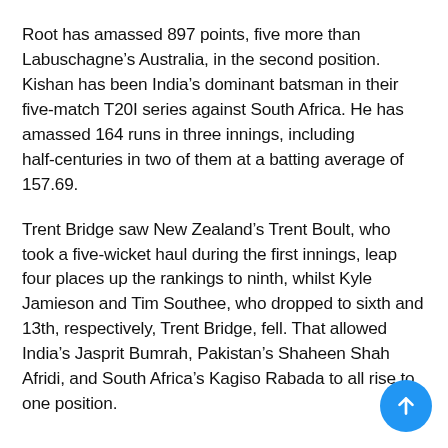Root has amassed 897 points, five more than Labuschagne's Australia, in the second position. Kishan has been India's dominant batsman in their five-match T20I series against South Africa. He has amassed 164 runs in three innings, including half-centuries in two of them at a batting average of 157.69.
Trent Bridge saw New Zealand's Trent Boult, who took a five-wicket haul during the first innings, leap four places up the rankings to ninth, whilst Kyle Jamieson and Tim Southee, who dropped to sixth and 13th, respectively, Trent Bridge, fell. That allowed India's Jasprit Bumrah, Pakistan's Shaheen Shah Afridi, and South Africa's Kagiso Rabada to all rise to one position.